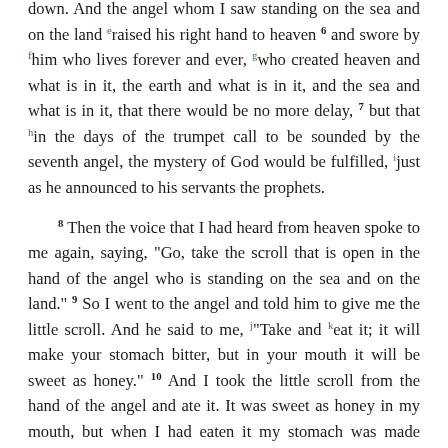down. And the angel whom I saw standing on the sea and on the land raised his right hand to heaven 6 and swore by him who lives forever and ever, who created heaven and what is in it, the earth and what is in it, and the sea and what is in it, that there would be no more delay, 7 but that in the days of the trumpet call to be sounded by the seventh angel, the mystery of God would be fulfilled, just as he announced to his servants the prophets.
8 Then the voice that I had heard from heaven spoke to me again, saying, "Go, take the scroll that is open in the hand of the angel who is standing on the sea and on the land." 9 So I went to the angel and told him to give me the little scroll. And he said to me, "Take and eat it; it will make your stomach bitter, but in your mouth it will be sweet as honey." 10 And I took the little scroll from the hand of the angel and ate it. It was sweet as honey in my mouth, but when I had eaten it my stomach was made bitter. 11 And I was told, "You must again prophesy about many peoples and nations and languages and kings."